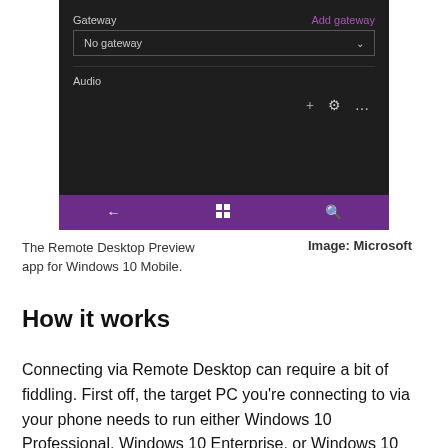[Figure (screenshot): Screenshot of the Remote Desktop Preview app for Windows 10 Mobile, showing Gateway settings with 'No gateway' dropdown, Audio section, toolbar icons (plus, gear, ellipsis), and a purple navigation bar with back arrow, Windows logo, and search icon.]
The Remote Desktop Preview app for Windows 10 Mobile.
Image: Microsoft
How it works
Connecting via Remote Desktop can require a bit of fiddling. First off, the target PC you're connecting to via your phone needs to run either Windows 10 Professional, Windows 10 Enterprise, or Windows 10 Business. You'll also need to ensure